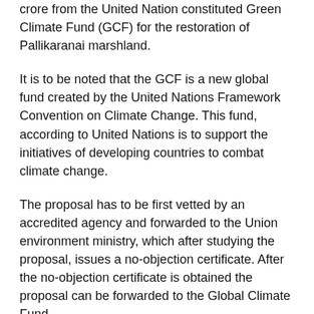crore from the United Nation constituted Green Climate Fund (GCF) for the restoration of Pallikaranai marshland.
It is to be noted that the GCF is a new global fund created by the United Nations Framework Convention on Climate Change. This fund, according to United Nations is to support the initiatives of developing countries to combat climate change.
The proposal has to be first vetted by an accredited agency and forwarded to the Union environment ministry, which after studying the proposal, issues a no-objection certificate. After the no-objection certificate is obtained the proposal can be forwarded to the Global Climate Fund.
Supriya Sahu, Additional Chief Secretary, Department of Environment, Climate Change and Forests, Government of Tamil Nadu while speaking to IANS said, 'The proposal of...